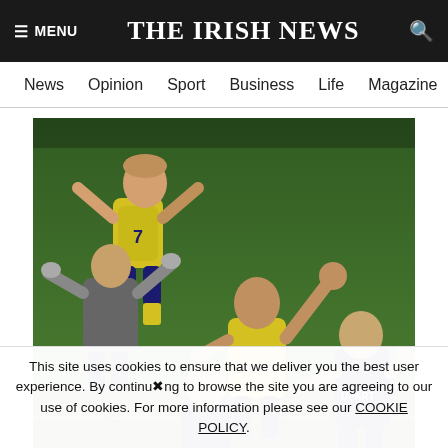≡ MENU  THE IRISH NEWS  🔍
News  Opinion  Sport  Business  Life  Magazine  Arts
[Figure (photo): Football players in yellow and dark blue kits celebrating on a pitch, one player lifted up, another waving to the crowd]
After being allowed to leave by Liverpool, Jim Magilton went
This site uses cookies to ensure that we deliver you the best user experience. By continuing to browse the site you are agreeing to our use of cookies. For more information please see our COOKIE POLICY.